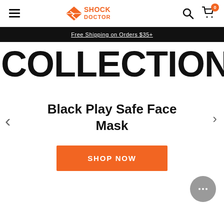Shock Doctor — Navigation bar with hamburger menu, logo, search and cart icons
Free Shipping on Orders $35+
COLLECTION
Black Play Safe Face Mask
SHOP NOW